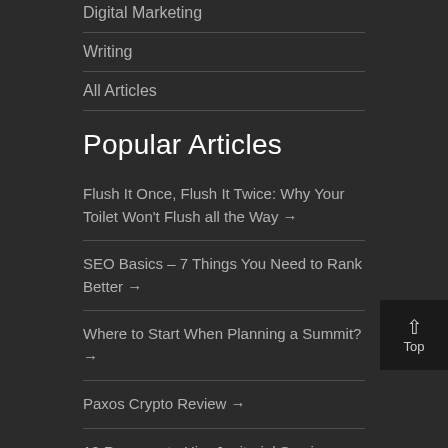Digital Marketing
Writing
All Articles
Popular Articles
Flush It Once, Flush It Twice: Why Your Toilet Won't Flush all the Way →
SEO Basics – 7 Things You Need to Rank Better →
Where to Start When Planning a Summit? →
Paxos Crypto Review →
12 Reasons to Hire Janitorial Services